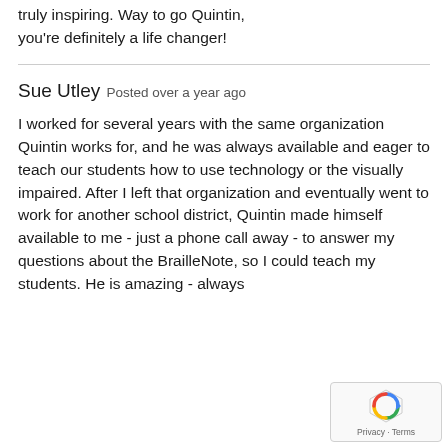truly inspiring. Way to go Quintin, you're definitely a life changer!
Sue Utley  Posted over a year ago
I worked for several years with the same organization Quintin works for, and he was always available and eager to teach our students how to use technology or the visually impaired. After I left that organization and eventually went to work for another school district, Quintin made himself available to me - just a phone call away - to answer my questions about the BrailleNote, so I could teach my students. He is amazing - always